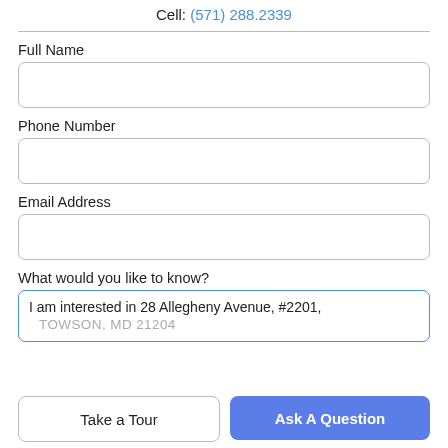Cell: (571) 288.2339
Full Name
Phone Number
Email Address
What would you like to know?
I am interested in 28 Allegheny Avenue, #2201,
TOWSON, MD 21204
Take a Tour
Ask A Question